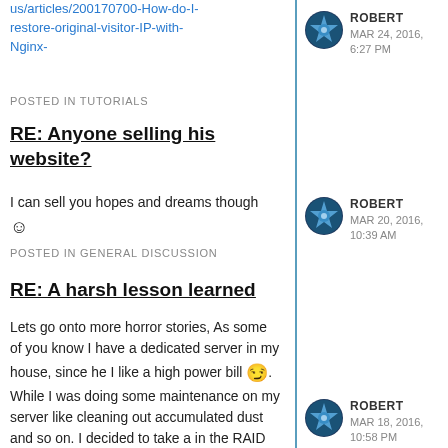us/articles/200170700-How-do-I-restore-original-visitor-IP-with-Nginx-
POSTED IN TUTORIALS
RE: Anyone selling his website?
I can sell you hopes and dreams though 😊
POSTED IN GENERAL DISCUSSION
RE: A harsh lesson learned
Lets go onto more horror stories, As some of you know I have a dedicated server in my house, since he I like a high power bill 😏. While I was doing some maintenance on my server like cleaning out accumulated dust and so on. I decided to take a in the RAID cage.
ROBERT
MAR 24, 2016, 6:27 PM
ROBERT
MAR 20, 2016, 10:39 AM
ROBERT
MAR 18, 2016, 10:58 PM